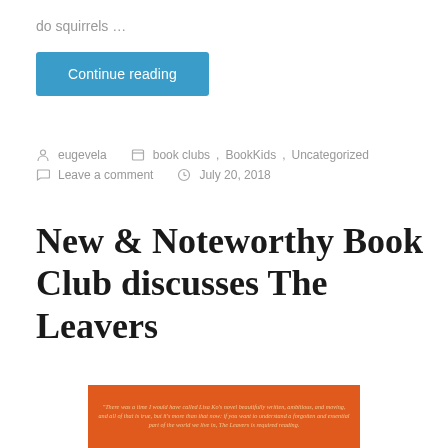do squirrels …
Continue reading
eugevela   book clubs, BookKids, Uncategorized   Leave a comment   July 20, 2018
New & Noteworthy Book Club discusses The Leavers
[Figure (photo): Book cover of The Leavers on an orange background with a quote text]